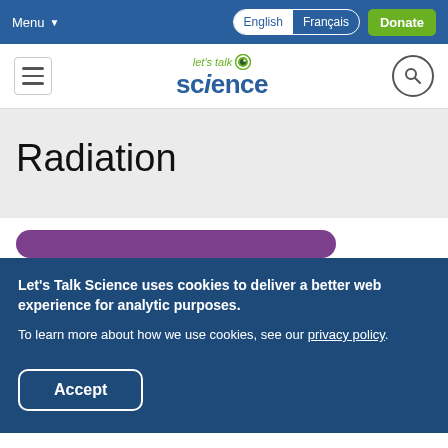Menu  English  Français  Donate
[Figure (logo): Let's Talk Science logo with eye graphic and navigation elements including hamburger menu and search button]
Radiation
Let's Talk Science uses cookies to deliver a better web experience for analytic purposes. To learn more about how we use cookies, see our privacy policy.
Accept